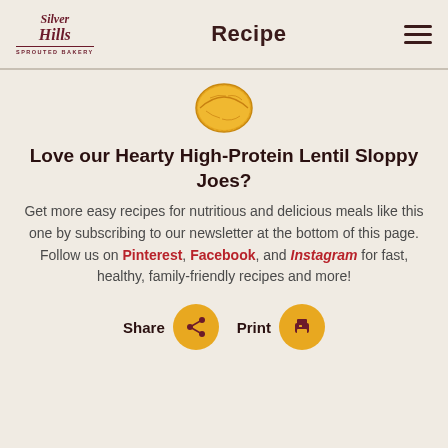Recipe
[Figure (illustration): Illustration of a lentil or seed, golden/yellow colored, oval shaped with a line across the center]
Love our Hearty High-Protein Lentil Sloppy Joes?
Get more easy recipes for nutritious and delicious meals like this one by subscribing to our newsletter at the bottom of this page. Follow us on Pinterest, Facebook, and Instagram for fast, healthy, family-friendly recipes and more!
Share   Print